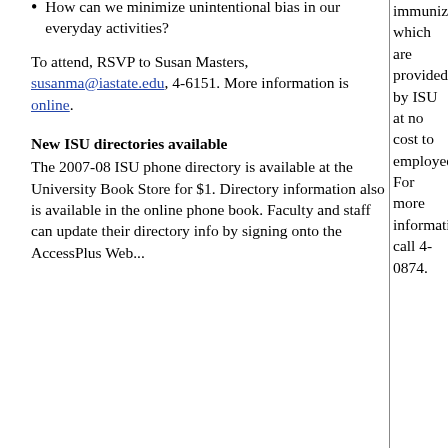How can we minimize unintentional bias in our everyday activities?
To attend, RSVP to Susan Masters, susanma@iastate.edu, 4-6151. More information is online.
New ISU directories available
The 2007-08 ISU phone directory is available at the University Book Store for $1. Directory information also is available in the online phone book. Faculty and staff can update their directory info by signing onto the AccessPlus Web...
immunizations, which are provided by ISU at no cost to employees. For more information, call 4-0874.